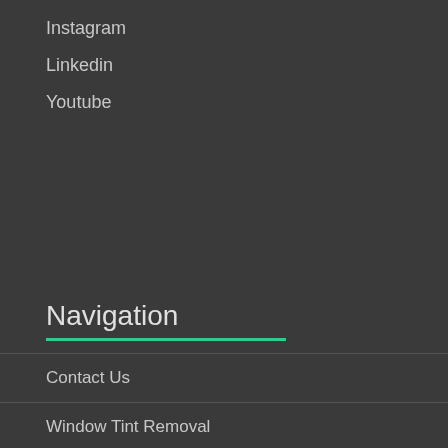Instagram
Linkedin
Youtube
Navigation
Contact Us
Window Tint Removal
Surface Protection
Welding & Grinding Damage
Hard Water & Etching Removal